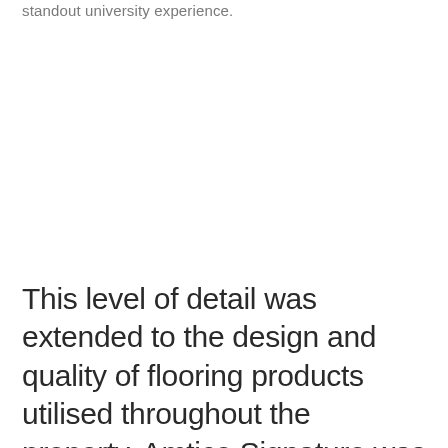standout university experience.
This level of detail was extended to the design and quality of flooring products utilised throughout the property. Amtico Signature was specified in all 8,000m2 of social and amenity spaces, including the entrance lobby, cinema, gym, café, games